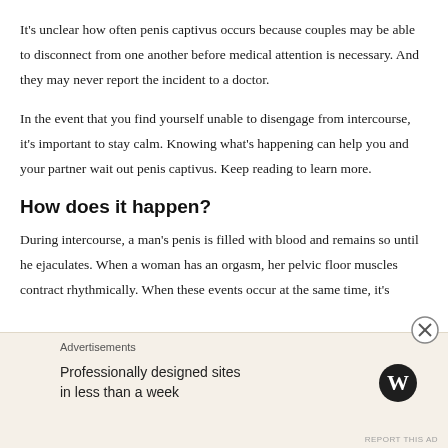It's unclear how often penis captivus occurs because couples may be able to disconnect from one another before medical attention is necessary. And they may never report the incident to a doctor.
In the event that you find yourself unable to disengage from intercourse, it's important to stay calm. Knowing what's happening can help you and your partner wait out penis captivus. Keep reading to learn more.
How does it happen?
During intercourse, a man's penis is filled with blood and remains so until he ejaculates. When a woman has an orgasm, her pelvic floor muscles contract rhythmically. When these events occur at the same time, it's
Advertisements
Professionally designed sites in less than a week